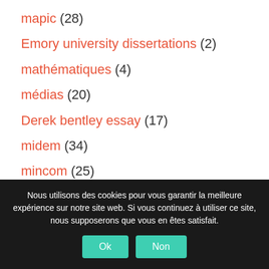mapic (28)
Emory university dissertations (2)
mathématiques (4)
médias (20)
Derek bentley essay (17)
midem (34)
mincom (25)
Nous utilisons des cookies pour vous garantir la meilleure expérience sur notre site web. Si vous continuez à utiliser ce site, nous supposerons que vous en êtes satisfait.
Ok Non